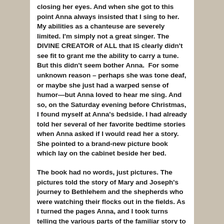closing her eyes. And when she got to this point Anna always insisted that I sing to her. My abilities as a chanteuse are severely limited. I'm simply not a great singer. The DIVINE CREATOR of ALL that IS clearly didn't see fit to grant me the ability to carry a tune. But this didn't seem bother Anna.  For some unknown reason – perhaps she was tone deaf, or maybe she just had a warped sense of humor—but Anna loved to hear me sing. And so, on the Saturday evening before Christmas, I found myself at Anna's bedside. I had already told her several of her favorite bedtime stories when Anna asked if I would read her a story. She pointed to a brand-new picture book which lay on the cabinet beside her bed.
The book had no words, just pictures. The pictures told the story of Mary and Joseph's journey to Bethlehem and the shepherds who were watching their flocks out in the fields. As I turned the pages Anna, and I took turns telling the various parts of the familiar story to one another. When we got to the part